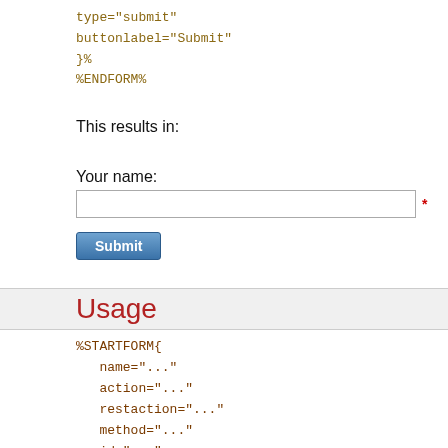type="submit"
buttonlabel="Submit"
}%
%ENDFORM%
This results in:
Your name:
[Figure (screenshot): A web form input field with a red asterisk on the right indicating required field]
[Figure (screenshot): A blue Submit button]
Usage
%STARTFORM{
   name="..."
   action="..."
   restaction="..."
   method="..."
   id="..."
   validate="..."
   topic="..."
   web="..."